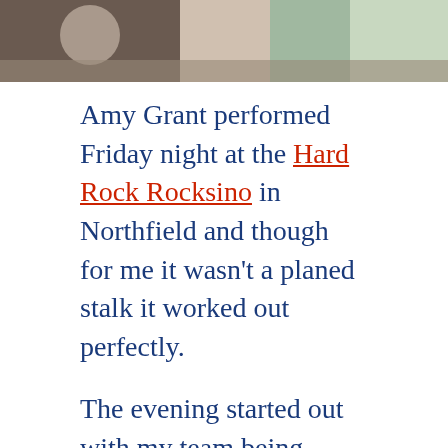[Figure (photo): Partial photo at top of page showing people, cropped at the bottom of the image]
Amy Grant performed Friday night at the Hard Rock Rocksino in Northfield and though for me it wasn't a planed stalk it worked out perfectly.
The evening started out with my team being knocked out of our volleyball playoffs and before going home my husband decided to use his free play up at the casino.
Of course a trip to the casino wouldn't be official without a Tweet of actions and locations which was seen by my stalkers in crime who just happened to be outside waiting for Grant to exit after the show.